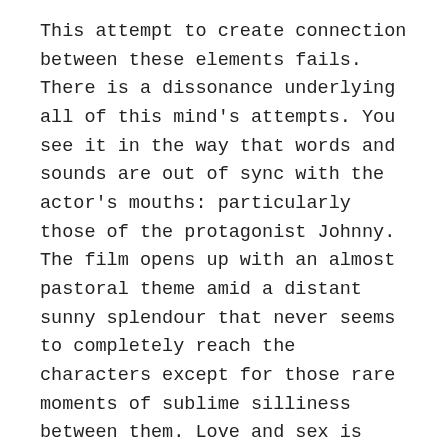This attempt to create connection between these elements fails. There is a dissonance underlying all of this mind's attempts. You see it in the way that words and sounds are out of sync with the actor's mouths: particularly those of the protagonist Johnny. The film opens up with an almost pastoral theme amid a distant sunny splendour that never seems to completely reach the characters except for those rare moments of sublime silliness between them. Love and sex is accompanied by music that sounds suspiciously like a stereotypically tacky and kitsche soft-core porn soundtrack: while ending off the film after the final death.
And sex and death are seen as awkward, dissociative things. Bodies never really quite find